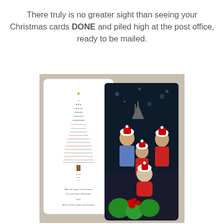There truly is no greater sight than seeing your Christmas cards DONE and piled high at the post office, ready to be mailed.
[Figure (photo): A photograph showing two Christmas cards displayed: one white card with a Christmas tree made of text/words, with a gold star on top, and a holiday letter inside the tree shape, with cursive text at the bottom reading 'May the magic of Christmas fill your heart and home! Love, Brad, Kelly, Logan and Jackson'. The second card shows a family photo taken at Disney, with family members wearing Santa hats and Disney Christmas attire, with holiday decorations in the background.]